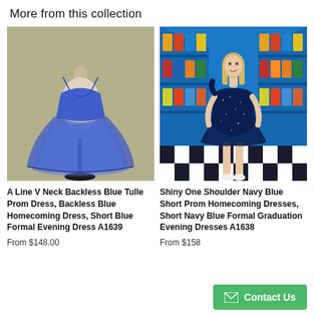More from this collection
[Figure (photo): A blue tulle prom dress on a dress form mannequin against a beige background. The dress has spaghetti straps, V-neck, and a short flared skirt.]
A Line V Neck Backless Blue Tulle Prom Dress, Backless Blue Homecoming Dress, Short Blue Formal Evening Dress A1639
From $148.00
[Figure (photo): A blonde woman wearing a shiny one-shoulder navy blue sequin short dress, standing in a room with bright blue walls lined with cereal boxes, and a black and white checkered floor.]
Shiny One Shoulder Navy Blue Short Prom Homecoming Dresses, Short Navy Blue Formal Graduation Evening Dresses A1638
From $158